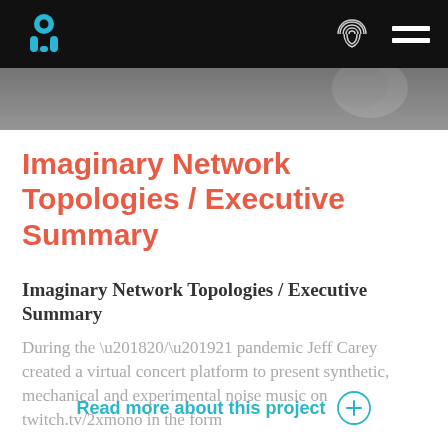Imaginary Network Topologies / Executive Summary
[Figure (photo): Grayscale hero image at top of page beneath navigation bar]
Imaginary Network Topologies / Executive Summary
Imaginary Network Topologies / Executive Summary
During the ‘20/’21 pandemic Jeff Carey created a virtual concert platform to present synthetic, mechanical and experimental noise music on twitch.tv/2xmono in the form
Read more about this project